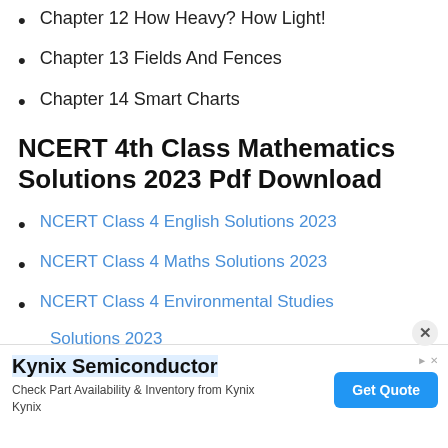Chapter 12 How Heavy? How Light!
Chapter 13 Fields And Fences
Chapter 14 Smart Charts
NCERT 4th Class Mathematics Solutions 2023 Pdf Download
NCERT Class 4 English Solutions 2023
NCERT Class 4 Maths Solutions 2023
NCERT Class 4 Environmental Studies Solutions 2023
[Figure (screenshot): Advertisement banner for Kynix Semiconductor with Get Quote button]